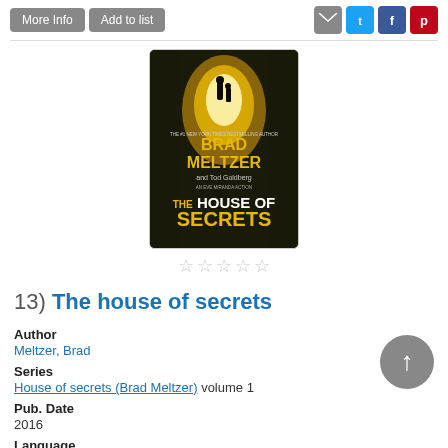[Figure (screenshot): Top bar with More Info and Add to list buttons, and social media icons (email, Twitter, Facebook, Pinterest)]
[Figure (photo): Book cover of 'The House of Secrets' by Brad Meltzer and Tod Goldberg, showing two silhouettes in a doorway with gold and dark tones]
☆☆☆☆☆
13)  The house of secrets
Author
Meltzer, Brad
Series
House of secrets (Brad Meltzer) volume 1
Pub. Date
2016
Language
English